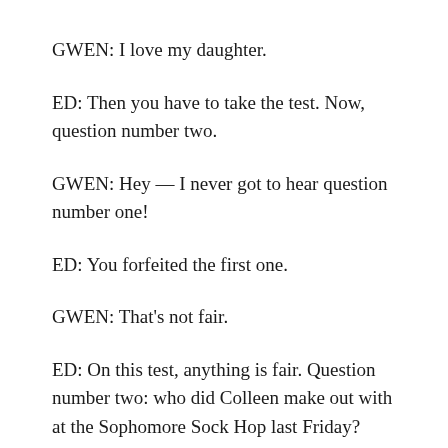GWEN: I love my daughter.
ED: Then you have to take the test. Now, question number two.
GWEN: Hey — I never got to hear question number one!
ED: You forfeited the first one.
GWEN: That's not fair.
ED: On this test, anything is fair. Question number two: who did Colleen make out with at the Sophomore Sock Hop last Friday?